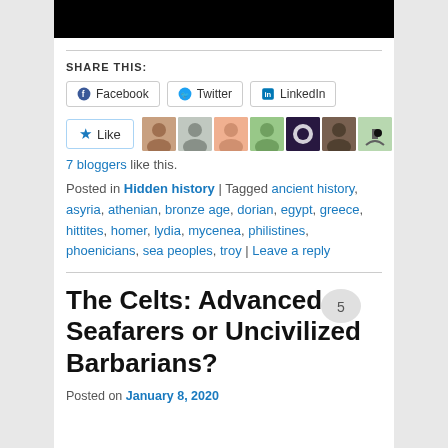[Figure (photo): Black banner image at top of page]
SHARE THIS:
Facebook   Twitter   LinkedIn (share buttons)
Like button with 7 blogger avatars
7 bloggers like this.
Posted in Hidden history | Tagged ancient history, asyria, athenian, bronze age, dorian, egypt, greece, hittites, homer, lydia, mycenea, philistines, phoenicians, sea peoples, troy | Leave a reply
The Celts: Advanced Seafarers or Uncivilized Barbarians?
Posted on January 8, 2020